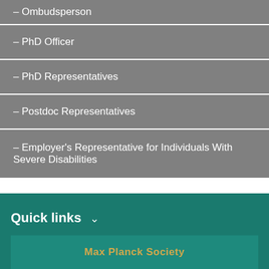– Ombudsperson
– PhD Officer
– PhD Representatives
– Postdoc Representatives
– Employer's Representative for Individuals With Severe Disabilities
Quick links ∨
Max Planck Society